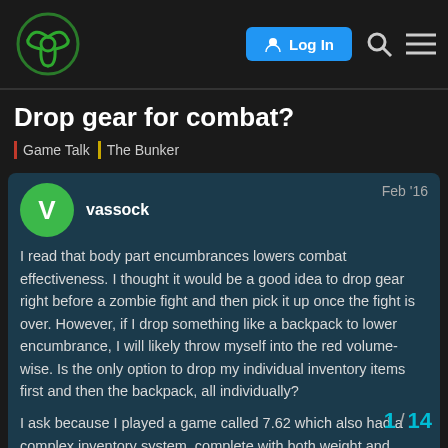Log In
Drop gear for combat?
Game Talk | The Bunker
vassock  Feb '16
I read that body part encumbrances lowers combat effectiveness. I thought it would be a good idea to drop gear right before a zombie fight and then pick it up once the fight is over. However, if I drop something like a backpack to lower encumbrance, I will likely throw myself into the red volume-wise. Is the only option to drop my individual inventory items first and then the backpack, all individually?

I ask because I played a game called 7.62 which also had a complex inventory system, complete with both weight and volume limitations. However, instead of wo... backpack) contributing to a volume "stat."
1 / 14